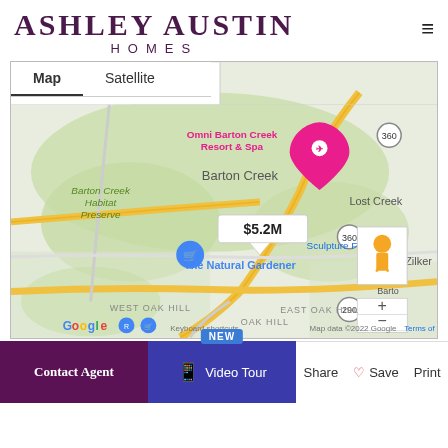[Figure (logo): Ashley Austin Homes logo with large serif text 'ASHLEY AUSTIN' and smaller sans-serif 'HOMES' below]
[Figure (map): Google Maps screenshot showing Barton Creek area in Austin TX with a $5.2M property marker, showing landmarks: Omni Barton Creek Resort & Spa, Barton Creek Habitat Preserve, The Natural Gardener, Sculpture Falls. Map tabs show Map/Satellite options. Map data 2022 Google.]
Contact Agent
Video Tour
Share
Save
Print